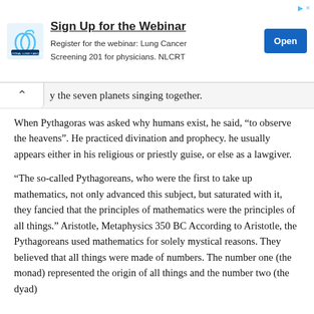[Figure (other): Advertisement banner for National Lung Cancer Roundtable webinar with logo, title 'Sign Up for the Webinar', subtitle text, and a blue 'Open' button.]
y the seven planets singing together.
When Pythagoras was asked why humans exist, he said, “to observe the heavens”. He practiced divination and prophecy. he usually appears either in his religious or priestly guise, or else as a lawgiver.
“The so-called Pythagoreans, who were the first to take up mathematics, not only advanced this subject, but saturated with it, they fancied that the principles of mathematics were the principles of all things.” Aristotle, Metaphysics 350 BC According to Aristotle, the Pythagoreans used mathematics for solely mystical reasons. They believed that all things were made of numbers. The number one (the monad) represented the origin of all things and the number two (the dyad)